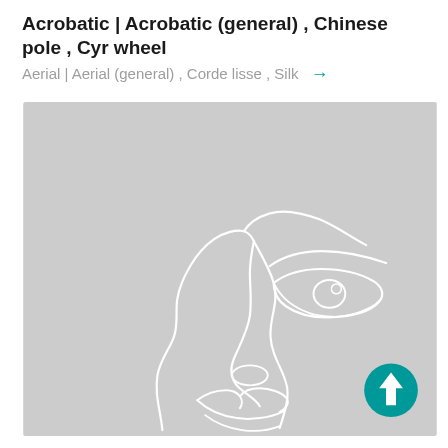Acrobatic | Acrobatic (general) , Chinese pole , Cyr wheel
Aerial | Aerial (general) , Corde lisse , Silk →
[Figure (illustration): A minimalist single-line drawing of a human face in profile on a light gray background. The drawing uses white continuous lines to outline facial features including an eye with eyelid and pupil, eyebrow, nose, lips, and chin. A teal circular button with a white upward arrow is overlaid in the bottom-right corner of the image.]